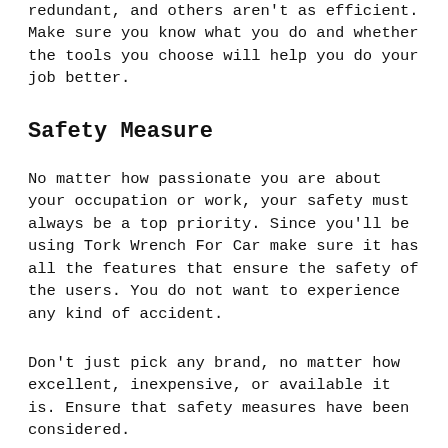redundant, and others aren't as efficient. Make sure you know what you do and whether the tools you choose will help you do your job better.
Safety Measure
No matter how passionate you are about your occupation or work, your safety must always be a top priority. Since you'll be using Tork Wrench For Car make sure it has all the features that ensure the safety of the users. You do not want to experience any kind of accident.
Don't just pick any brand, no matter how excellent, inexpensive, or available it is. Ensure that safety measures have been considered.